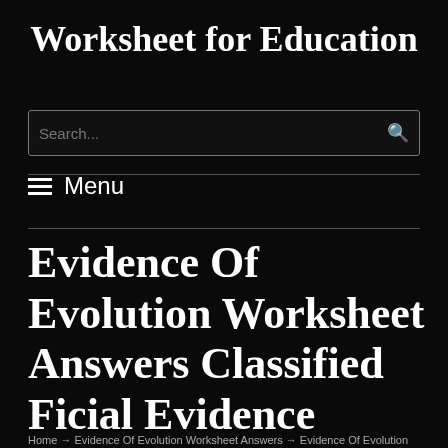Worksheet for Education
Search...
☰ Menu
Evidence Of Evolution Worksheet Answers Classified Ficial Evidence Evolution Worksheet Answers
Home → Evidence Of Evolution Worksheet Answers → Evidence Of Evolution